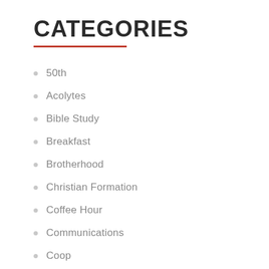CATEGORIES
50th
Acolytes
Bible Study
Breakfast
Brotherhood
Christian Formation
Coffee Hour
Communications
Coop
ECW